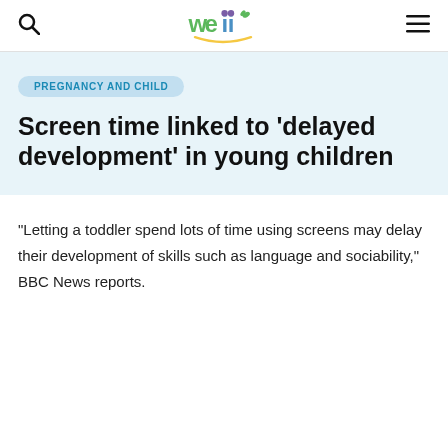weii [logo]
PREGNANCY AND CHILD
Screen time linked to 'delayed development' in young children
"Letting a toddler spend lots of time using screens may delay their development of skills such as language and sociability," BBC News reports.